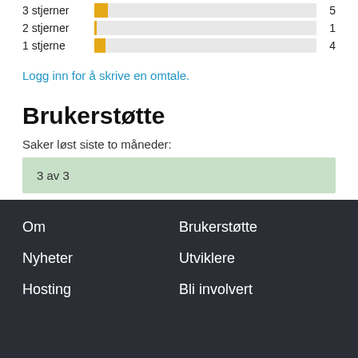[Figure (bar-chart): Star ratings]
Logg inn for å skrive en omtale.
Brukerstøtte
Saker løst siste to måneder:
3 av 3
Vis brukerstøtteforumet
Om  Brukerstøtte  Nyheter  Utviklere  Hosting  Bli involvert